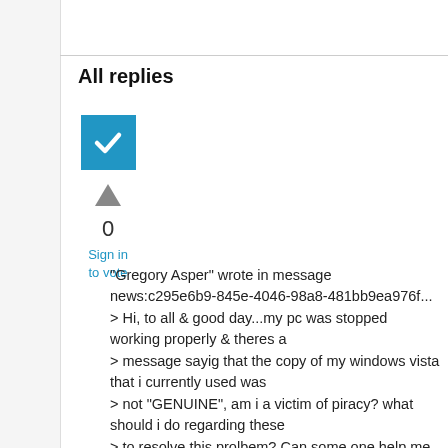All replies
[Figure (illustration): Blue checkbox icon with white checkmark]
[Figure (illustration): Grey upward-pointing triangle (upvote arrow)]
0
Sign in to vote
"Gregory Asper" wrote in message news:c295e6b9-845e-4046-98a8-481bb9ea976f...
> Hi, to all & good day...my pc was stopped working properly & theres a
> message sayig that the copy of my windows vista that i currently used was
> not "GENUINE", am i a victim of piracy? what should i do regarding these
> to resolve this prolbem? Can some one help me for this?